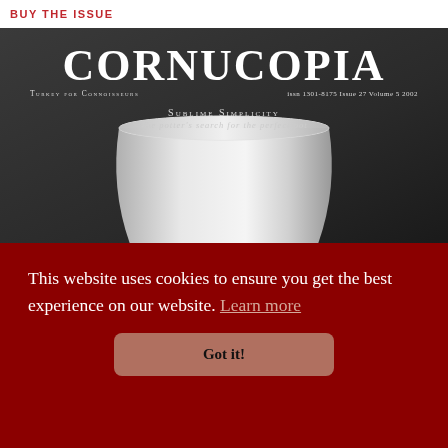BUY THE ISSUE
[Figure (photo): Magazine cover of Cornucopia: Turkey for Connoisseurs. ISSN 1301-8175 Issue 27 Volume 5 2002. Cover story: 'Sublime Simplicity — The potter's search for the perfect pot'. Cover image shows a tall white ceramic pot/vessel against a dark background.]
This website uses cookies to ensure you get the best experience on our website. Learn more
Got it!